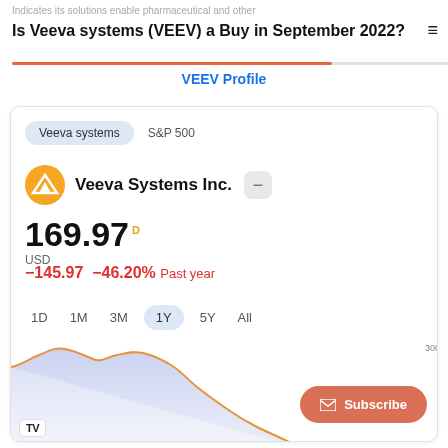Indicates its solutions enable pharmaceutical and other
Is Veeva systems (VEEV) a Buy in September 2022?
VEEV Profile
[Figure (screenshot): Veeva Systems Inc. stock profile card showing price 169.97 USD, change -145.97 -46.20% Past year, with 1Y chart selected and a line chart showing declining stock price from ~300 to ~175. TradingView branding visible. Subscribe button overlay.]